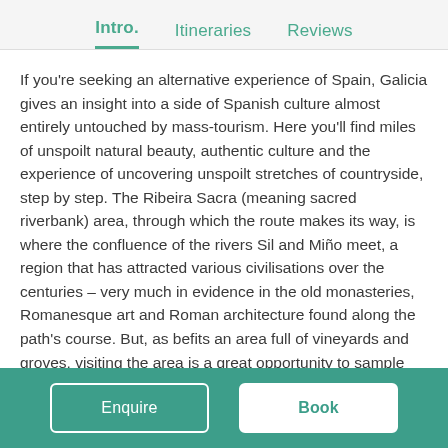Intro.  Itineraries  Reviews
If you're seeking an alternative experience of Spain, Galicia gives an insight into a side of Spanish culture almost entirely untouched by mass-tourism. Here you'll find miles of unspoilt natural beauty, authentic culture and the experience of uncovering unspoilt stretches of countryside, step by step. The Ribeira Sacra (meaning sacred riverbank) area, through which the route makes its way, is where the confluence of the rivers Sil and Miño meet, a region that has attracted various civilisations over the centuries – very much in evidence in the old monasteries, Romanesque art and Roman architecture found along the path's course. But, as befits an area full of vineyards and groves, visiting the area is a great opportunity to sample local wines and
Enquire  Book